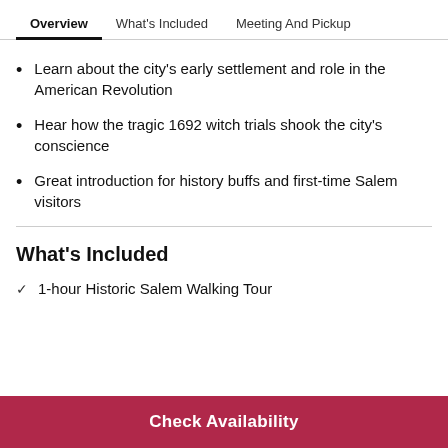Overview | What's Included | Meeting And Pickup
Learn about the city's early settlement and role in the American Revolution
Hear how the tragic 1692 witch trials shook the city's conscience
Great introduction for history buffs and first-time Salem visitors
What's Included
1-hour Historic Salem Walking Tour
Check Availability